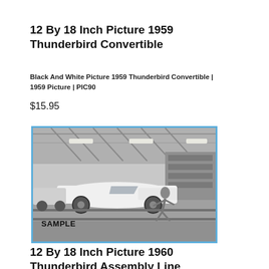12 By 18 Inch Picture 1959 Thunderbird Convertible
Black And White Picture 1959 Thunderbird Convertible | 1959 Picture | PIC90
$15.95
[Figure (photo): Black and white photograph of a 1959 Thunderbird Convertible on an assembly line, with a worker leaning over the car. The image has a blue border and a 'SAMPLE' watermark in the lower left.]
12 By 18 Inch Picture 1960 Thunderbird Assembly Line